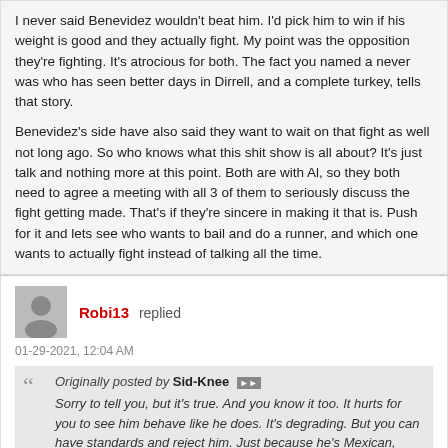I never said Benevidez wouldn't beat him. I'd pick him to win if his weight is good and they actually fight. My point was the opposition they're fighting. It's atrocious for both. The fact you named a never was who has seen better days in Dirrell, and a complete turkey, tells that story.
Benevidez's side have also said they want to wait on that fight as well not long ago. So who knows what this shit show is all about? It's just talk and nothing more at this point. Both are with Al, so they both need to agree a meeting with all 3 of them to seriously discuss the fight getting made. That's if they're sincere in making it that is. Push for it and lets see who wants to bail and do a runner, and which one wants to actually fight instead of talking all the time.
Robi13 replied
01-29-2021, 12:04 AM
Originally posted by Sid-Knee
Sorry to tell you, but it's true. And you know it too. It hurts for you to see him behave like he does. It's degrading. But you can have standards and reject him. Just because he's Mexican, doesn't mean you have to support him. It's just mind blowing watching any fighter behave like this. It's shocking. Surely he has self-awareness and knows how it all looks? Why would a fighter be so obvious and act like a brat all the time and cheat like this?

Desperation has a new face with Canelo and Wilder. Man is it